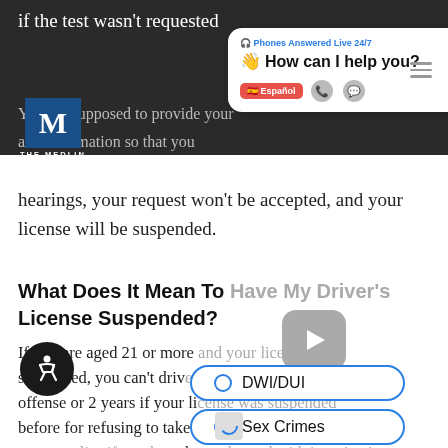if the test wasn't requested
[Figure (screenshot): Chat popup overlay with 'Phones Answered Live 24/7', 'How can I help you?', Español button, phone and language icons, and The Medlin Law Firm logo]
hearings, your request won't be accepted, and your license will be suspended.
What Does It Mean To Have My Driver's License Suspended?
If you are aged 21 or more and your license is suspended, you can't drive. It's your first offense or 2 years if your license was suspended before for refusing to take a blood test. The same applies if you have been charged with intoxication manslaughter, intoxication assault, or any other offense in the decade preceding your date of arrest.
[Figure (screenshot): Three pill-shaped radio button options: DWI/DUI, Sex Crimes, Assault and Battery]
[Figure (screenshot): Accessibility wheelchair icon button (bottom left) and small spinner icon (bottom center)]